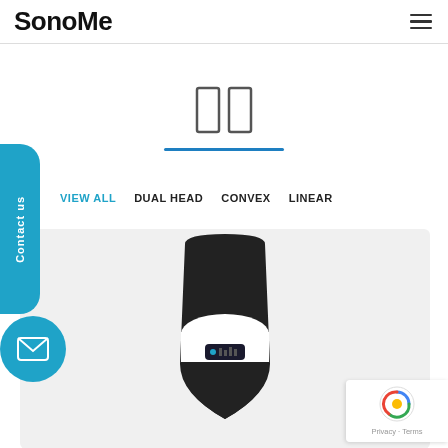SonoMe
Contact us
[Figure (screenshot): Two vertical rectangle pause-icon style rectangles with a blue underline, serving as a UI pause/slider control]
VIEW ALL   DUAL HEAD   CONVEX   LINEAR
[Figure (photo): SonoMe dual-head ultrasound device, showing a black and white handheld probe with a small blue display screen, photographed on a light gray background]